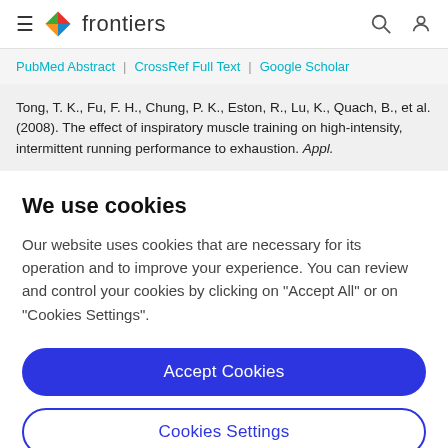frontiers
PubMed Abstract | CrossRef Full Text | Google Scholar
Tong, T. K., Fu, F. H., Chung, P. K., Eston, R., Lu, K., Quach, B., et al. (2008). The effect of inspiratory muscle training on high-intensity, intermittent running performance to exhaustion. Appl.
We use cookies
Our website uses cookies that are necessary for its operation and to improve your experience. You can review and control your cookies by clicking on "Accept All" or on "Cookies Settings".
Accept Cookies
Cookies Settings